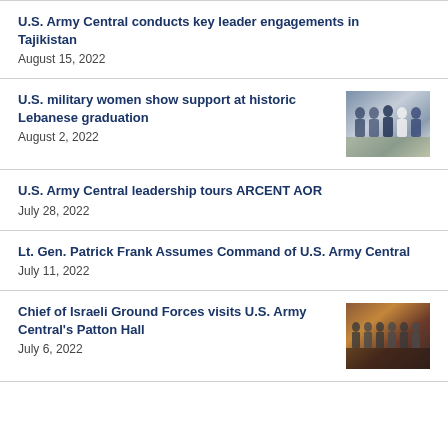U.S. Army Central conducts key leader engagements in Tajikistan
August 15, 2022
U.S. military women show support at historic Lebanese graduation
August 2, 2022
U.S. Army Central leadership tours ARCENT AOR
July 28, 2022
Lt. Gen. Patrick Frank Assumes Command of U.S. Army Central
July 11, 2022
Chief of Israeli Ground Forces visits U.S. Army Central's Patton Hall
July 6, 2022